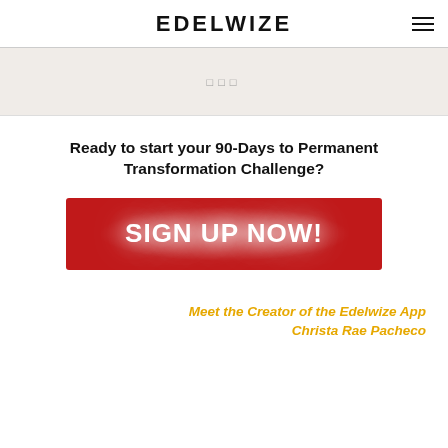EDELWIZE
[Figure (other): Light beige banner strip with small icon symbols centered]
Ready to start your 90-Days to Permanent Transformation Challenge?
[Figure (other): Red button with glowing white text reading SIGN UP NOW!]
Meet the Creator of the Edelwize App
Christa Rae Pacheco